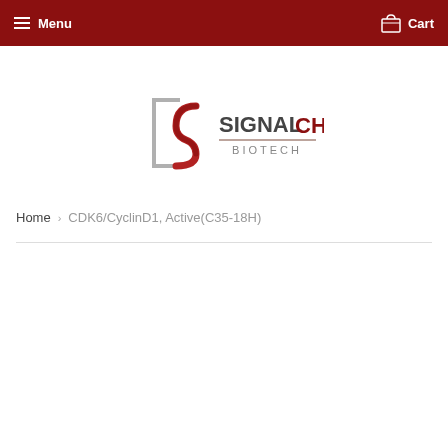Menu  Cart
[Figure (logo): SignalChem Biotech logo with stylized S mark and company name]
Home  ›  CDK6/CyclinD1, Active(C35-18H)